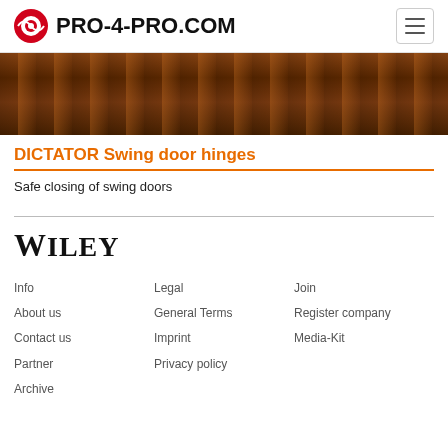PRO-4-PRO.COM
[Figure (photo): Close-up photo of a dark wood-grain door surface]
DICTATOR Swing door hinges
Safe closing of swing doors
[Figure (logo): WILEY logo in serif font]
Info
About us
Contact us
Partner
Archive
Legal
General Terms
Imprint
Privacy policy
Join
Register company
Media-Kit